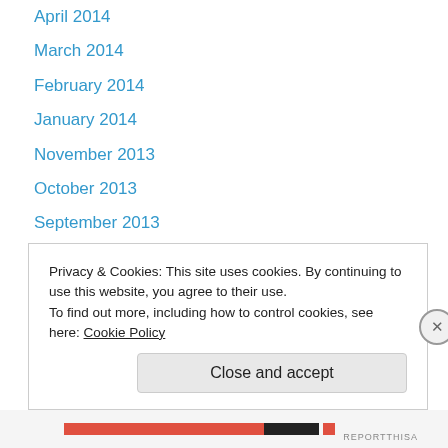April 2014
March 2014
February 2014
January 2014
November 2013
October 2013
September 2013
August 2013
July 2013
June 2013
May 2013
December 2012
November 2012
October 2012
Privacy & Cookies: This site uses cookies. By continuing to use this website, you agree to their use. To find out more, including how to control cookies, see here: Cookie Policy
Close and accept